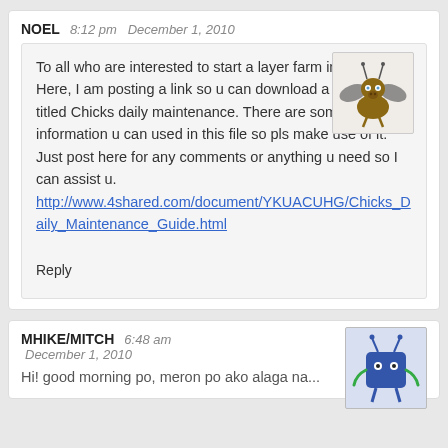NOEL   8:12 pm  December 1, 2010
To all who are interested to start a layer farm industry, Here, I am posting a link so u can download a guide for titled Chicks daily maintenance. There are some useful information u can used in this file so pls make use of it. Just post here for any comments or anything u need so I can assist u.
http://www.4shared.com/document/YKUACUHG/Chicks_Daily_Maintenance_Guide.html
Reply
MHIKE/MITCH   6:48 am
December 1, 2010
Hi! good morning po, meron po ako alaga na...